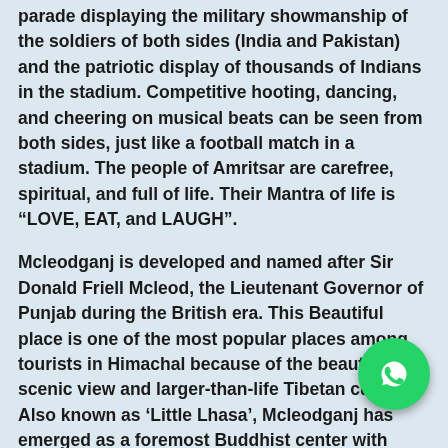parade displaying the military showmanship of the soldiers of both sides (India and Pakistan) and the patriotic display of thousands of Indians in the stadium. Competitive hooting, dancing, and cheering on musical beats can be seen from both sides, just like a football match in a stadium. The people of Amritsar are carefree, spiritual, and full of life. Their Mantra of life is “LOVE, EAT, and LAUGH”.
Mcleodganj is developed and named after Sir Donald Friell Mcleod, the Lieutenant Governor of Punjab during the British era. This Beautiful place is one of the most popular places among tourists in Himachal because of the beautiful scenic view and larger-than-life Tibetan culture. Also known as ‘Little Lhasa’, Mcleodganj has emerged as a foremost Buddhist center with some beautiful and remarkable monasteries with impressive images of Lord Buddha, Padmasambhava, and Avaloktwshwara. Markets with Tibetan traditional architectural design having handicrafts, garments, restaurants, and shops give to feel of Tibet in India itself. Mcleodganj offers amazing and delicious food, prepared in the rich
[Figure (other): WhatsApp contact button overlay in bottom-right corner]